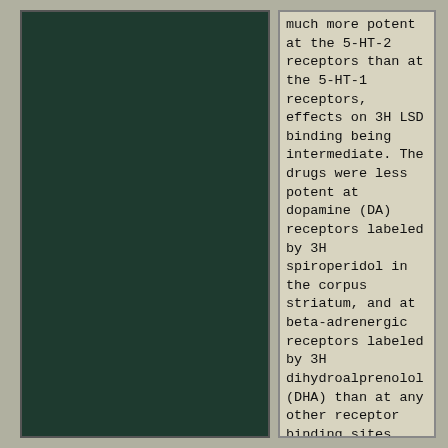[Figure (photo): Dark green rectangular panel occupying the left half of the page, appears to be an image or figure with a very dark green background]
much more potent at the 5-HT-2 receptors than at the 5-HT-1 receptors, effects on 3H LSD binding being intermediate. The drugs were less potent at dopamine (DA) receptors labeled by 3H spiroperidol in the corpus striatum, and at beta-adrenergic receptors labeled by 3H dihydroalprenolol (DHA) than at any other receptor binding sites. Haloperidol and chlorpromazine had considerable affinities for several receptors, resembling the more active antidepressants at alpha-adrenergic and 5-HT-2 sites, and the most potent drugs at DA receptors. Amitriptyline